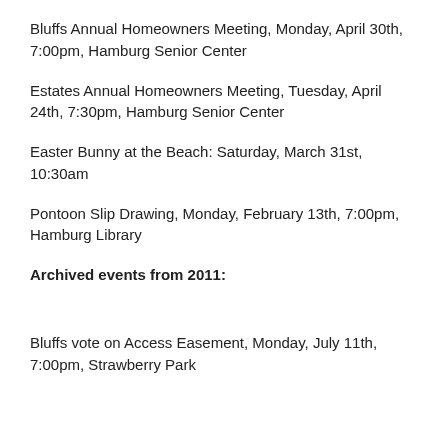Bluffs Annual Homeowners Meeting, Monday, April 30th, 7:00pm, Hamburg Senior Center
Estates Annual Homeowners Meeting, Tuesday, April 24th, 7:30pm, Hamburg Senior Center
Easter Bunny at the Beach: Saturday, March 31st, 10:30am
Pontoon Slip Drawing, Monday, February 13th, 7:00pm, Hamburg Library
Archived events from 2011:
Bluffs vote on Access Easement, Monday, July 11th, 7:00pm, Strawberry Park